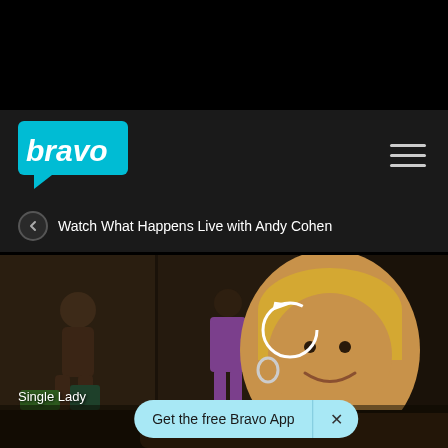[Figure (logo): Bravo TV logo — white text 'bravo' inside a cyan speech bubble shape]
Watch What Happens Live with Andy Cohen
[Figure (screenshot): Video still from Watch What Happens Live with Andy Cohen on Bravo — woman with blonde bob haircut smiling, background shows screens with young girls dancing and a colorful illuminated display. A circular replay arrow icon is overlaid in the center. 'Single Lady' text appears in lower left.]
Get the free Bravo App